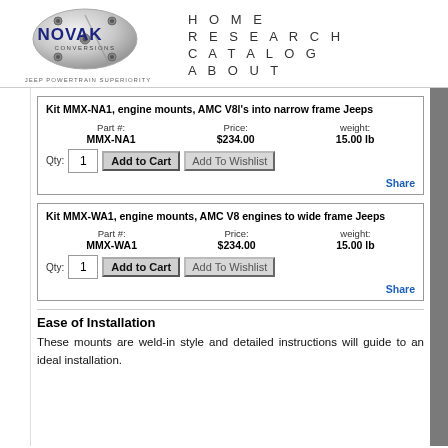[Figure (logo): Novak Conversions logo — circular chrome gear/plate with NOVAK in dark blue and 'CONVERSIONS' text, with tagline 'JEEP POWERTRAIN SUPERIORITY']
HOME
RESEARCH
CATALOG
ABOUT
| Part # | Price | weight |
| --- | --- | --- |
| MMX-NA1 | $234.00 | 15.00 lb |
| Part # | Price | weight |
| --- | --- | --- |
| MMX-WA1 | $234.00 | 15.00 lb |
Ease of Installation
These mounts are weld-in style and detailed instructions will guide to an ideal installation.